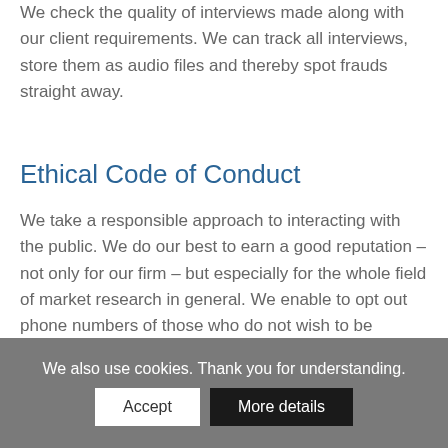We check the quality of interviews made along with our client requirements. We can track all interviews, store them as audio files and thereby spot frauds straight away.
Ethical Code of Conduct
We take a responsible approach to interacting with the public. We do our best to earn a good reputation – not only for our firm – but especially for the whole field of market research in general. We enable to opt out phone numbers of those who do not wish to be contacted for market research purposes.
This option to opt out is offered on our
We also use cookies. Thank you for understanding.